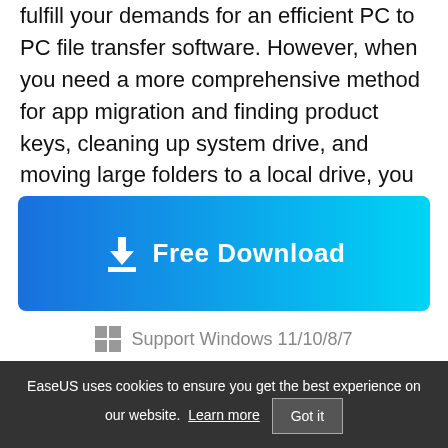fulfill your demands for an efficient PC to PC file transfer software. However, when you need a more comprehensive method for app migration and finding product keys, cleaning up system drive, and moving large folders to a local drive, you can always trust EaseUS Todo PCTrans.
[Figure (other): Blue gradient download button with download icon and text 'Free Download']
Support Windows 11/10/8/7
EaseUS uses cookies to ensure you get the best experience on our website. Learn more  Got it